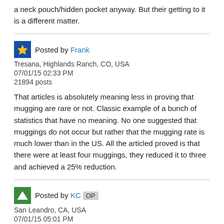a neck pouch/hidden pocket anyway. But their getting to it is a different matter.
Posted by Frank
Tresana, Highlands Ranch, CO, USA
07/01/15 02:33 PM
21894 posts
That articles is absolutely meaning less in proving that mugging are rare or not. Classic example of a bunch of statistics that have no meaning. No one suggested that muggings do not occur but rather that the mugging rate is much lower than in the US. All the articled proved is that there were at least four muggings, they reduced it to three and achieved a 25% reduction.
Posted by KC OP
San Leandro, CA, USA
07/01/15 05:01 PM